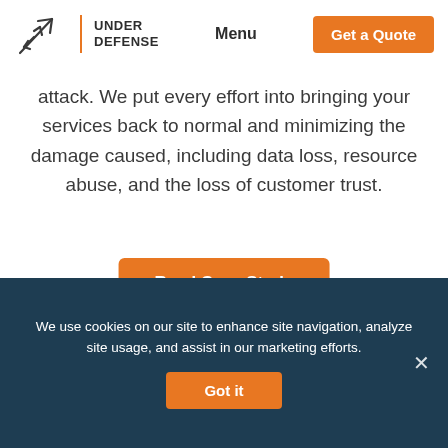Under Defense | Menu | Get a Quote
attack. We put every effort into bringing your services back to normal and minimizing the damage caused, including data loss, resource abuse, and the loss of customer trust.
Read Case Study
[Figure (other): Carousel navigation dots, three circles, first filled dark]
We use cookies on our site to enhance site navigation, analyze site usage, and assist in our marketing efforts.
Got it